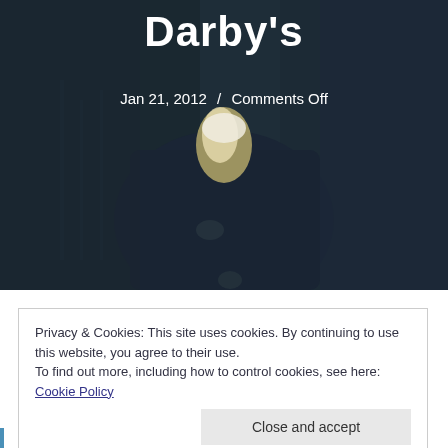[Figure (illustration): A painting of a person in dark clothing with light-colored collar/cravat, rendered in dark blues and greens, serving as a hero image background.]
Darby's
Jan 21, 2012  /  Comments Off
Privacy & Cookies: This site uses cookies. By continuing to use this website, you agree to their use.
To find out more, including how to control cookies, see here: Cookie Policy
Close and accept